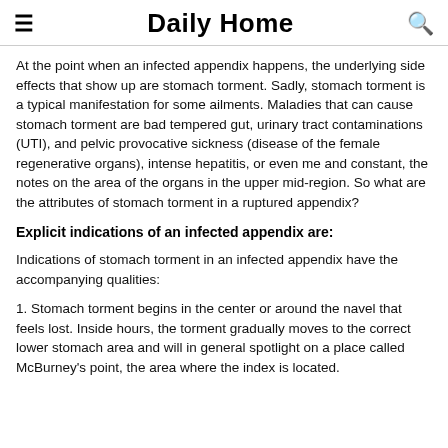Daily Home
At the point when an infected appendix happens, the underlying side effects that show up are stomach torment. Sadly, stomach torment is a typical manifestation for some ailments. Maladies that can cause stomach torment are bad tempered gut, urinary tract contaminations (UTI), and pelvic provocative sickness (disease of the female regenerative organs), intense hepatitis, or even me and constant, the notes on the area of the organs in the upper mid-region. So what are the attributes of stomach torment in a ruptured appendix?
Explicit indications of an infected appendix are:
Indications of stomach torment in an infected appendix have the accompanying qualities:
1. Stomach torment begins in the center or around the navel that feels lost. Inside hours, the torment gradually moves to the correct lower stomach area and will in general spotlight on a place called McBurney's point, the area where the index is located.